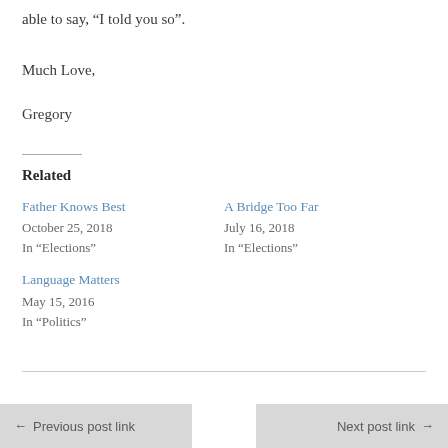able to say, “I told you so”.
Much Love,
Gregory
Related
Father Knows Best
October 25, 2018
In “Elections”
A Bridge Too Far
July 16, 2018
In “Elections”
Language Matters
May 15, 2016
In “Politics”
Previous post link  Next post link